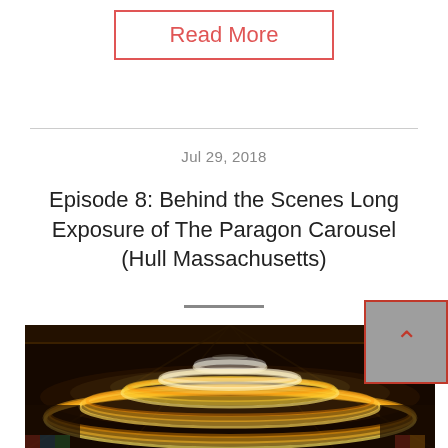Read More
Jul 29, 2018
Episode 8: Behind the Scenes Long Exposure of The Paragon Carousel (Hull Massachusetts)
[Figure (photo): Long exposure photograph of a spinning carousel (The Paragon Carousel, Hull Massachusetts) showing blurred light trails in concentric circles of orange/yellow on a dark background, taken from below looking up.]